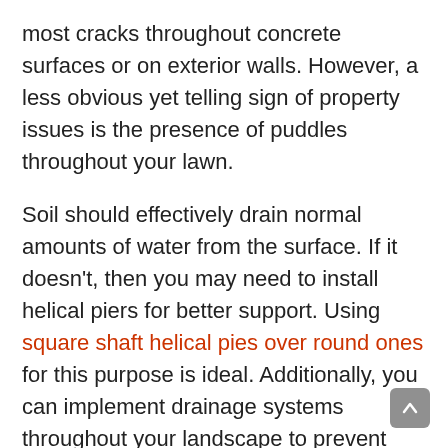most cracks throughout concrete surfaces or on exterior walls. However, a less obvious yet telling sign of property issues is the presence of puddles throughout your lawn.
Soil should effectively drain normal amounts of water from the surface. If it doesn't, then you may need to install helical piers for better support. Using square shaft helical pies over round ones for this purpose is ideal. Additionally, you can implement drainage systems throughout your landscape to prevent progressive damage to the foundation.